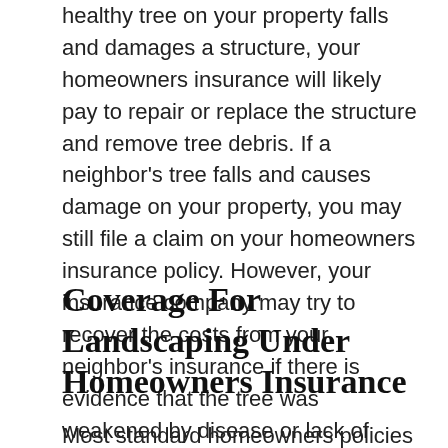healthy tree on your property falls and damages a structure, your homeowners insurance will likely pay to repair or replace the structure and remove tree debris. If a neighbor's tree falls and causes damage on your property, you may still file a claim on your homeowners insurance policy. However, your insurance company may try to recover the costs from your neighbor's insurance if there is evidence that the tree was weakened by disease or lack of basic maintenance.
Coverage For Landscaping Under Homeowners Insurance
Most standard homeowners policies will cover...